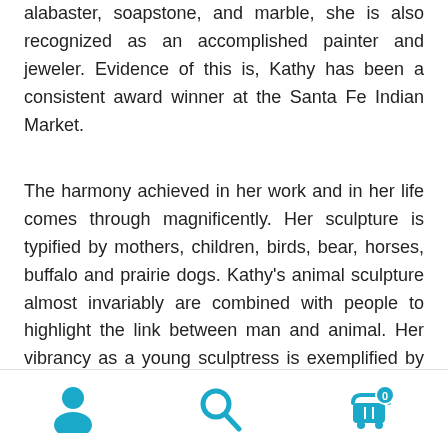alabaster, soapstone, and marble, she is also recognized as an accomplished painter and jeweler. Evidence of this is, Kathy has been a consistent award winner at the Santa Fe Indian Market.
The harmony achieved in her work and in her life comes through magnificently. Her sculpture is typified by mothers, children, birds, bear, horses, buffalo and prairie dogs. Kathy's animal sculpture almost invariably are combined with people to highlight the link between man and animal. Her vibrancy as a young sculptress is exemplified by an ever changing variation on themes, reaching to flowing abstractions that defy a singular description.
Spirited belief from the source of Elk Woman and T...
[navigation icons: person, search, cart with 0]